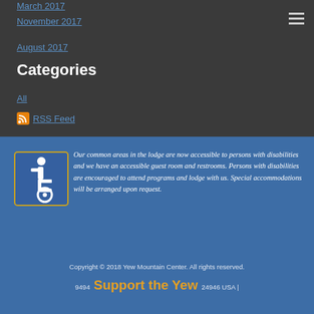March 2017
November 2017
August 2017
Categories
All
RSS Feed
[Figure (other): Wheelchair accessibility symbol — blue square with white wheelchair user icon]
Our common areas in the lodge are now accessible to persons with disabilities and we have an accessible guest room and restrooms. Persons with disabilities are encouraged to attend programs and lodge with us. Special accommodations will be arranged upon request.
Copyright © 2018 Yew Mountain Center. All rights reserved. 9494...24946 USA |
Support the Yew